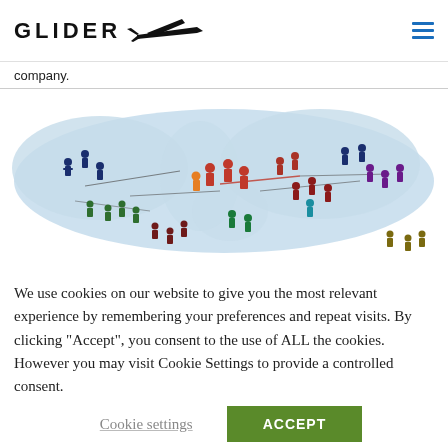GLIDER [logo with glider aircraft silhouette]
company.
[Figure (illustration): World map with colorful human silhouette figures in groups connected by lines, representing a global network of people across different continents in various colors: navy, green, dark red, red, orange, teal, cyan, purple, olive.]
We use cookies on our website to give you the most relevant experience by remembering your preferences and repeat visits. By clicking "Accept", you consent to the use of ALL the cookies. However you may visit Cookie Settings to provide a controlled consent.
Cookie settings
ACCEPT